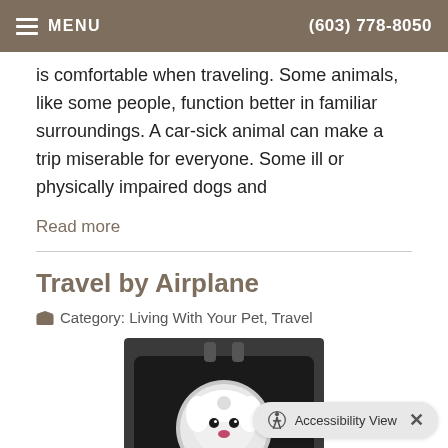MENU  (603) 778-8050
is comfortable when traveling. Some animals, like some people, function better in familiar surroundings. A car-sick animal can make a trip miserable for everyone. Some ill or physically impaired dogs and
Read more
Travel by Airplane
Category: Living With Your Pet, Travel
[Figure (photo): A small white fluffy dog inside a black pet carrier travel bag, viewed through the circular mesh window of the carrier.]
Accessibility View  ×